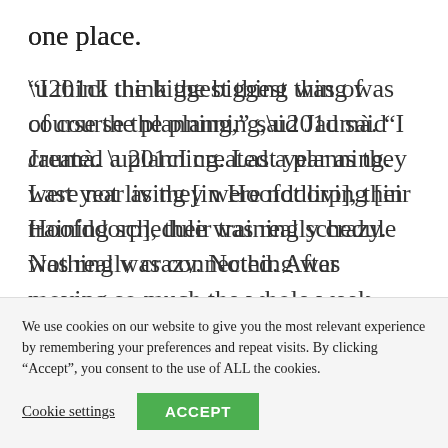one place.
“I think the biggest thing was of course the planning,” said Jauмà. “I created a planning. Last year as they were not living [in Hoofddorp], their training schedule was really crazy. Nothing was connected. After moving so much the whole week, they were really exhausted. So to be able to have this continuous training six days a week
We use cookies on our website to give you the most relevant experience by remembering your preferences and repeat visits. By clicking “Accept”, you consent to the use of ALL the cookies.
Cookie settings  ACCEPT